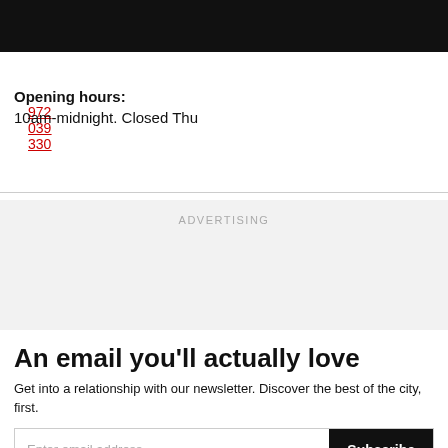972 039 330
Opening hours:
10am-midnight. Closed Thu
ADVERTISING
An email you'll actually love
Get into a relationship with our newsletter. Discover the best of the city, first.
Enter email address | Subscribe